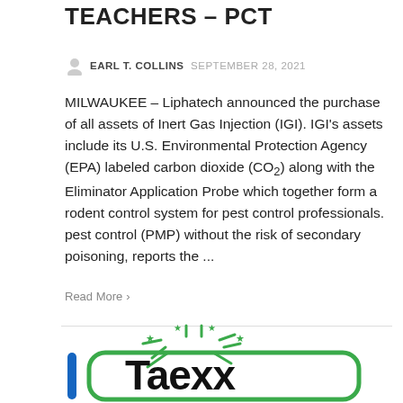TEACHERS – PCT
EARL T. COLLINS  SEPTEMBER 28, 2021
MILWAUKEE – Liphatech announced the purchase of all assets of Inert Gas Injection (IGI). IGI's assets include its U.S. Environmental Protection Agency (EPA) labeled carbon dioxide (CO₂) along with the Eliminator Application Probe which together form a rodent control system for pest control professionals. pest control (PMP) without the risk of secondary poisoning, reports the ...
Read More
[Figure (logo): iTaexx logo with blue vertical bar on left, black bold text 'Taexx', and green rounded rectangle border with green starburst/sparkle graphic above]